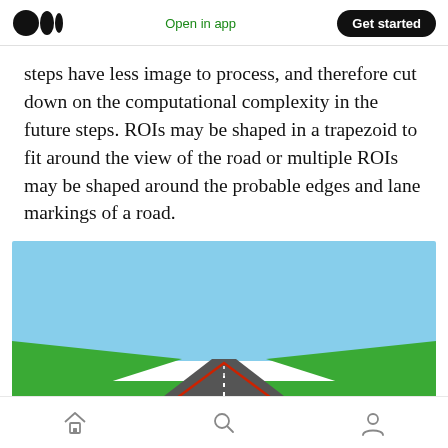Medium logo | Open in app | Get started
steps have less image to process, and therefore cut down on the computational complexity in the future steps. ROIs may be shaped in a trapezoid to fit around the view of the road or multiple ROIs may be shaped around the probable edges and lane markings of a road.
[Figure (illustration): Illustrated road scene viewed from driver perspective showing a straight road with white dashed lane markings converging toward a vanishing point, grass on both sides, light blue sky background, and a red trapezoidal region of interest (ROI) overlaid on the road surface.]
Home | Search | Profile navigation icons